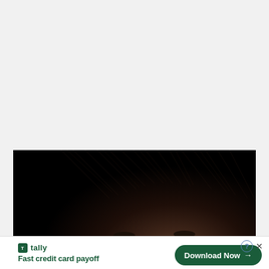[Figure (photo): Top portion of a person's head with dark brown hair against a black background, cropped just below the eyes]
[Figure (other): Advertisement banner for Tally app: green Tally logo icon, text 'tally' in green, tagline 'Fast credit card payoff' in dark green bold, and a dark green 'Download Now →' pill button on the right, with help and close icons in top-right corner]